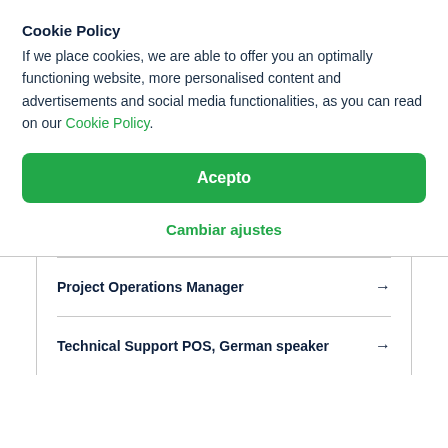Cookie Policy
If we place cookies, we are able to offer you an optimally functioning website, more personalised content and advertisements and social media functionalities, as you can read on our Cookie Policy.
Acepto
Cambiar ajustes
Project Operations Manager →
Technical Support POS, German speaker →